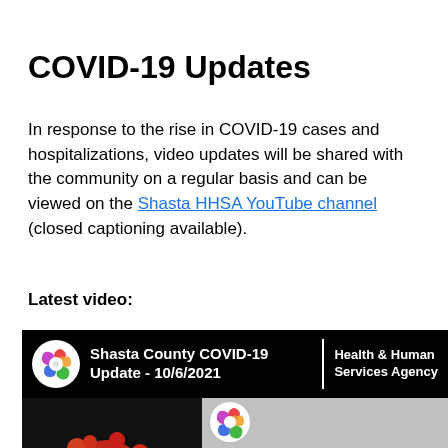COVID-19 Updates
In response to the rise in COVID-19 cases and hospitalizations, video updates will be shared with the community on a regular basis and can be viewed on the Shasta HHSA YouTube channel (closed captioning available).
Latest video:
[Figure (screenshot): YouTube video thumbnail showing Shasta County COVID-19 Update - 10/6/2021, Health & Human Services Agency. Black background with colorful logo, virus image on left, blurred gray area with www.ShastaReady.org text and YouTube play button.]